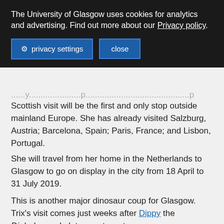The University of Glasgow uses cookies for analytics and advertising. Find out more about our Privacy policy.
privacy settings | close
Scottish visit will be the first and only stop outside mainland Europe. She has already visited Salzburg, Austria; Barcelona, Spain; Paris, France; and Lisbon, Portugal.
She will travel from her home in the Netherlands to Glasgow to go on display in the city from 18 April to 31 July 2019.
This is another major dinosaur coup for Glasgow. Trix's visit comes just weeks after Dippy the Diplodocus skeleton cast went on display at the Kelvingrove Art Gallery.